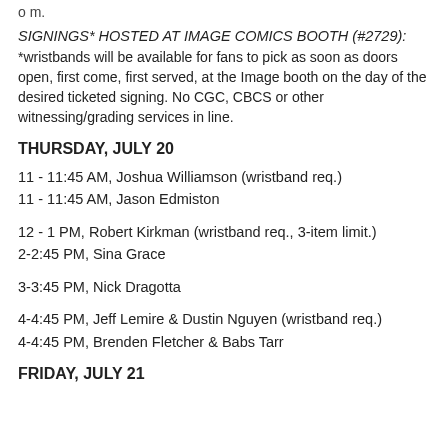o m.
SIGNINGS* HOSTED AT IMAGE COMICS BOOTH (#2729): *wristbands will be available for fans to pick as soon as doors open, first come, first served, at the Image booth on the day of the desired ticketed signing. No CGC, CBCS or other witnessing/grading services in line.
THURSDAY, JULY 20
11 - 11:45 AM, Joshua Williamson (wristband req.)
11 - 11:45 AM, Jason Edmiston
12 - 1 PM, Robert Kirkman (wristband req., 3-item limit.)
2-2:45 PM, Sina Grace
3-3:45 PM, Nick Dragotta
4-4:45 PM, Jeff Lemire & Dustin Nguyen (wristband req.)
4-4:45 PM, Brenden Fletcher & Babs Tarr
FRIDAY, JULY 21